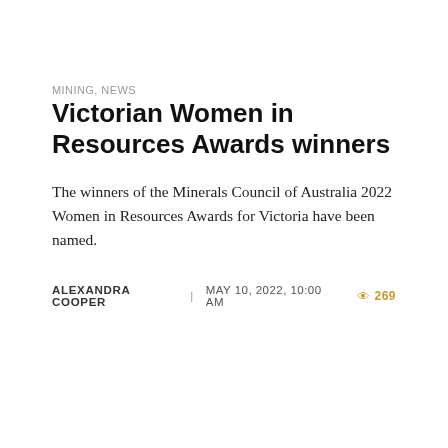MINING, NEWS
Victorian Women in Resources Awards winners
The winners of the Minerals Council of Australia 2022 Women in Resources Awards for Victoria have been named.
ALEXANDRA COOPER | MAY 10, 2022, 10:00 AM  269